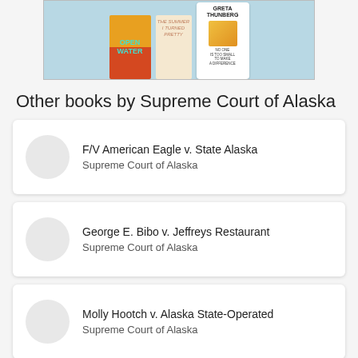[Figure (illustration): Book covers displayed on a light blue background: Open Water (orange/red cover), The Summer I Turned Pretty (beige/tan cover), and a Greta Thunberg book (white cover with photo)]
Other books by Supreme Court of Alaska
F/V American Eagle v. State Alaska — Supreme Court of Alaska
George E. Bibo v. Jeffreys Restaurant — Supreme Court of Alaska
Molly Hootch v. Alaska State-Operated — Supreme Court of Alaska